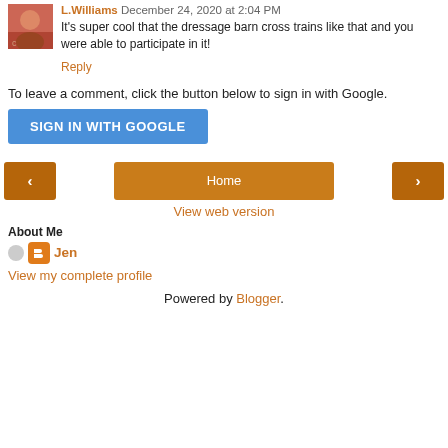L.Williams December 24, 2020 at 2:04 PM
It's super cool that the dressage barn cross trains like that and you were able to participate in it!
Reply
To leave a comment, click the button below to sign in with Google.
[Figure (other): Blue SIGN IN WITH GOOGLE button]
[Figure (other): Navigation bar with left arrow, Home button, and right arrow]
View web version
About Me
Jen
View my complete profile
Powered by Blogger.